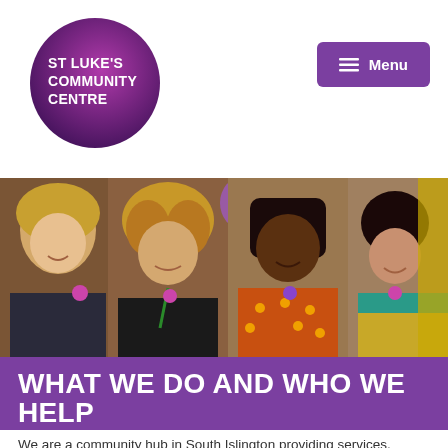[Figure (logo): St Luke's Community Centre circular purple gradient logo with white text]
[Figure (photo): Four smiling women of diverse backgrounds standing together at an event with purple and gold balloons in the background]
WHAT WE DO AND WHO WE HELP
We are a community hub in South Islington providing services, activities,